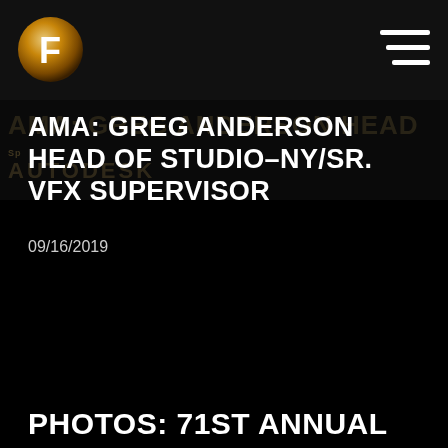[Figure (logo): Circular metallic bronze/gold logo with letter F in white, on dark background. Hamburger menu icon (three white horizontal lines) in top right corner.]
AMA: GREG ANDERSON HEAD OF STUDIO-NY/SR. VFX SUPERVISOR
09/16/2019
PHOTOS: 71ST ANNUAL